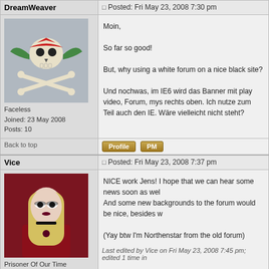DreamWeaver
Posted: Fri May 23, 2008 7:30 pm
[Figure (illustration): Skull and crossbones pirate avatar with green wings and red bandana]
Faceless
Joined: 23 May 2008
Posts: 10
Moin,

So far so good!

But, why using a white forum on a nice black site?

Und nochwas, im IE6 wird das Banner mit play video, Forum, mys rechts oben. Ich nutze zum Teil auch den IE. Wäre vielleicht nicht steht?
Back to top
Vice
Posted: Fri May 23, 2008 7:37 pm
[Figure (photo): Gothic woman with long blonde hair wearing dark clothing against red background]
Prisoner Of Our Time
Joined: 23 May 2008
Posts: 2385
Location: Hämeenlinna
NICE work Jens! I hope that we can hear some news soon as wel
And some new backgrounds to the forum would be nice, besides w

(Yay btw I'm Northenstar from the old forum)
Last edited by Vice on Fri May 23, 2008 7:45 pm; edited 1 time in
Back to top
hammarhjärta
Posted: Fri May 23, 2008 7:44 pm